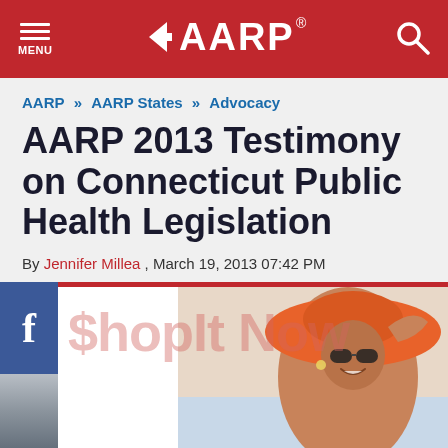AARP
AARP » AARP States » Advocacy
AARP 2013 Testimony on Connecticut Public Health Legislation
By Jennifer Millea , March 19, 2013 07:42 PM
[Figure (photo): Advertisement banner showing 'ShopIt Now' text with a woman in an orange hat and sunglasses at a beach]